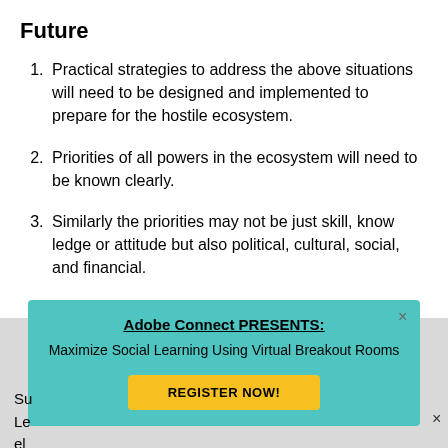Future
Practical strategies to address the above situations will need to be designed and implemented to prepare for the hostile ecosystem.
Priorities of all powers in the ecosystem will need to be known clearly.
Similarly the priorities may not be just skill, knowledge or attitude but also political, cultural, social, and financial.
[Figure (infographic): Adobe Connect popup advertisement with teal background. Title: 'Adobe Connect PRESENTS:' (bold, underlined). Subtitle: 'Maximize Social Learning Using Virtual Breakout Rooms'. Yellow button: 'REGISTER NOW!']
Su
Le
el